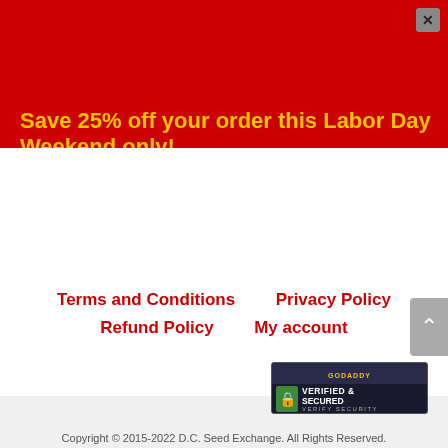[Figure (infographic): Red promotional banner with yellow text reading 'Save 25% off your order this Labor Day Weekend only!' and a close (X) button in the top right corner.]
Save 25% off your order this Labor Day Weekend only!
Terms and Conditions
Privacy Policy
Refund Policy
My account
[Figure (logo): GoDaddy Verified & Secured badge with lock icon, green lock, dark background, and VERIFY SECURITY text.]
Copyright © 2015-2022 D.C. Seed Exchange. All Rights Reserved.